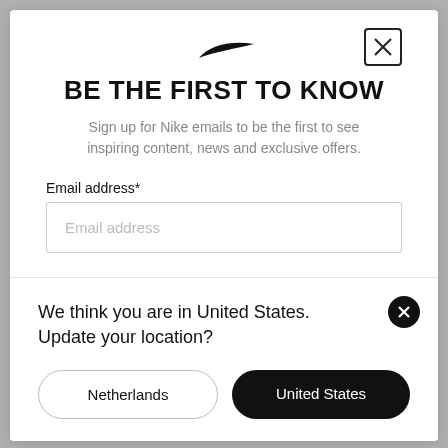[Figure (logo): Nike swoosh logo, black, centered at top of modal]
BE THE FIRST TO KNOW
Sign up for Nike emails to be the first to see inspiring content, news and exclusive offers.
Email address*
Email address
We think you are in United States. Update your location?
Netherlands
United States